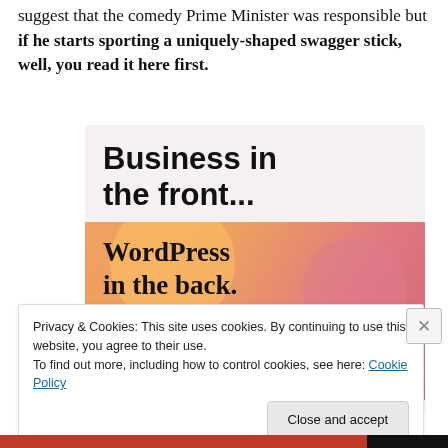suggest that the comedy Prime Minister was responsible but if he starts sporting a uniquely-shaped swagger stick, well, you read it here first.
[Figure (illustration): Advertisement image with two sections: top section on light beige background reading 'Business in the front...' in bold sans-serif, bottom section on orange/pink gradient background with decorative circles reading 'WordPress in the back.' in bold serif font.]
Privacy & Cookies: This site uses cookies. By continuing to use this website, you agree to their use.
To find out more, including how to control cookies, see here: Cookie Policy
Close and accept